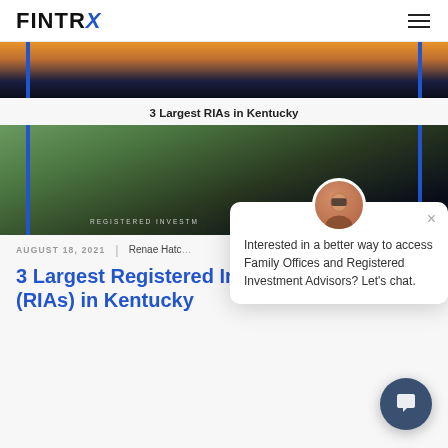FINTRX
[Figure (photo): Aerial landscape photo with orange sunset sky, dark navy background with blue vertical border accents]
3 Largest RIAs in Kentucky
[Figure (photo): Aerial city/town photo with dark overlay and blue border accents, text 'REGISTERED INVEST...' at bottom]
AUGUST 18, 2021 | Renae Hatc...
3 Largest Registered Investment Advisors (RIAs) in Kentucky
Interested in a better way to access Family Offices and Registered Investment Advisors? Let's chat.